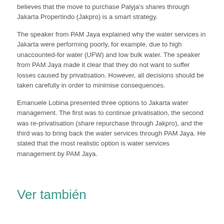believes that the move to purchase Palyja's shares through Jakarta Propertindo (Jakpro) is a smart strategy.
The speaker from PAM Jaya explained why the water services in Jakarta were performing poorly, for example, due to high unaccounted-for water (UFW) and low bulk water. The speaker from PAM Jaya made it clear that they do not want to suffer losses caused by privatisation. However, all decisions should be taken carefully in order to minimise consequences.
Emanuele Lobina presented three options to Jakarta water management. The first was to continue privatisation, the second was re-privatisation (share repurchase through Jakpro), and the third was to bring back the water services through PAM Jaya. He stated that the most realistic option is water services management by PAM Jaya.
Ver también